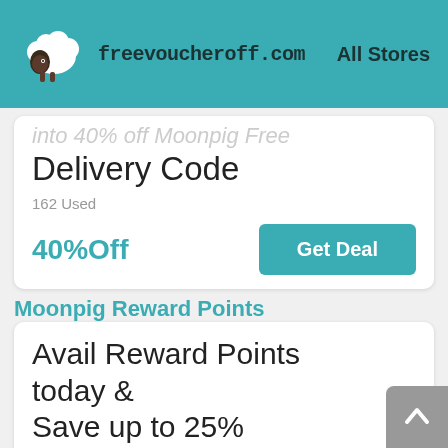freevoucheroff.com  All Stores
Delivery Code
162 Used
40%Off  Get Deal
Moonpig Reward Points
Avail Reward Points today & Save up to 25%
117 Used
25%Off  Get Deal